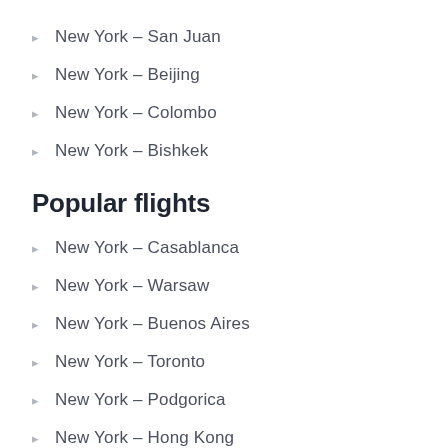New York – San Juan
New York – Beijing
New York – Colombo
New York – Bishkek
Popular flights
New York – Casablanca
New York – Warsaw
New York – Buenos Aires
New York – Toronto
New York – Podgorica
New York – Hong Kong
New York – Cairo